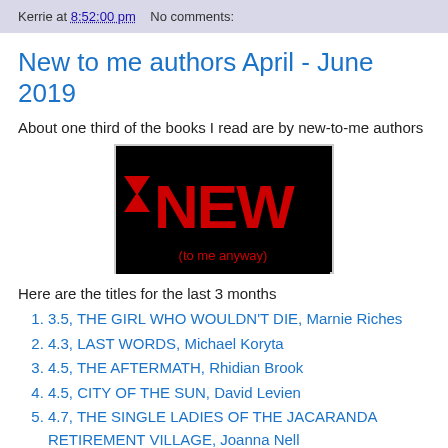Kerrie at 8:52:00 pm   No comments:
New to me authors April - June 2019
About one third of the books I read are by new-to-me authors
[Figure (illustration): Black background image with large red bold text 'NEW' and red text '(to me anyway)' below]
Here are the titles for the last 3 months
3.5, THE GIRL WHO WOULDN'T DIE, Marnie Riches
4.3, LAST WORDS, Michael Koryta
4.5, THE AFTERMATH, Rhidian Brook
4.5, CITY OF THE SUN, David Levien
4.7, THE SINGLE LADIES OF THE JACARANDA RETIREMENT VILLAGE, Joanna Nell
4.5, ALL OUR SECRETS, Jennifer Lane